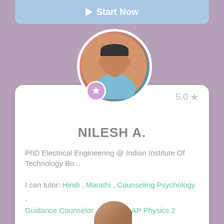▶ Start Now
[Figure (photo): Circular profile photo of Nilesh A., a man wearing a light blue shirt, with a badge icon below]
5.0 ★
NILESH A.
PhD Electrical Engineering @ Indian Institute Of Technology Bo...
I can tutor: Hindi , Marathi , Counseling Psychology , Guidance Counselor , Physics , AP Physics 2
▶ Start Now